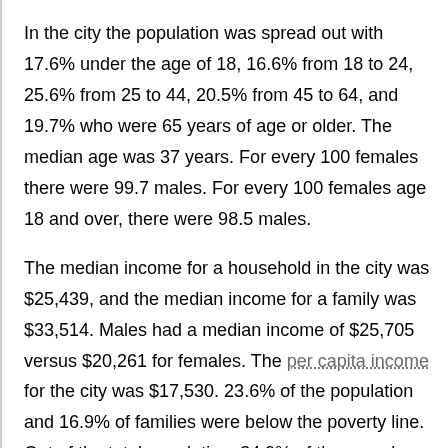In the city the population was spread out with 17.6% under the age of 18, 16.6% from 18 to 24, 25.6% from 25 to 44, 20.5% from 45 to 64, and 19.7% who were 65 years of age or older. The median age was 37 years. For every 100 females there were 99.7 males. For every 100 females age 18 and over, there were 98.5 males.
The median income for a household in the city was $25,439, and the median income for a family was $33,514. Males had a median income of $25,705 versus $20,261 for females. The per capita income for the city was $17,530. 23.6% of the population and 16.9% of families were below the poverty line. Out of the total population, 34.9% of those under the age of 18 and 12.1% of those 65